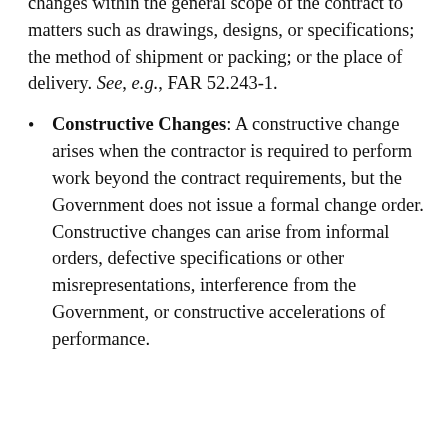changes within the general scope of the contract to matters such as drawings, designs, or specifications; the method of shipment or packing; or the place of delivery. See, e.g., FAR 52.243-1.
Constructive Changes: A constructive change arises when the contractor is required to perform work beyond the contract requirements, but the Government does not issue a formal change order. Constructive changes can arise from informal orders, defective specifications or other misrepresentations, interference from the Government, or constructive accelerations of performance.